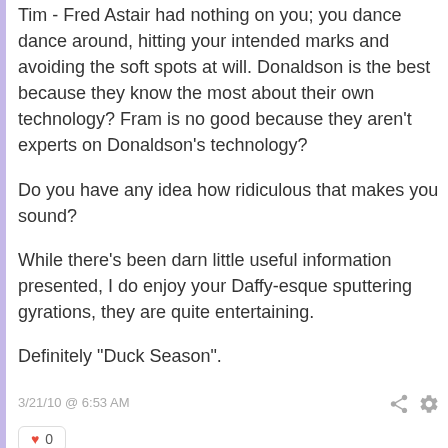Tim - Fred Astair had nothing on you; you dance dance around, hitting your intended marks and avoiding the soft spots at will. Donaldson is the best because they know the most about their own technology? Fram is no good because they aren't experts on Donaldson's technology?
Do you have any idea how ridiculous that makes you sound?
While there's been darn little useful information presented, I do enjoy your Daffy-esque sputtering gyrations, they are quite entertaining.
Definitely "Duck Season".
3/21/10 @ 6:53 AM